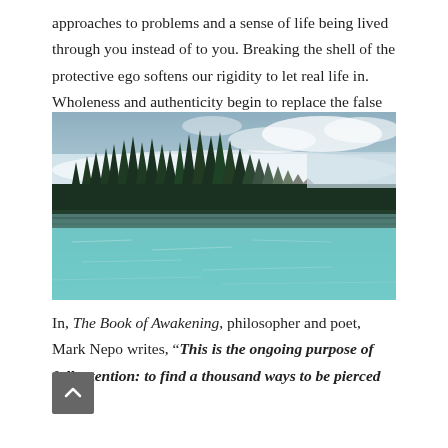approaches to problems and a sense of life being lived through you instead of to you. Breaking the shell of the protective ego softens our rigidity to let real life in. Wholeness and authenticity begin to replace the false self.
[Figure (photo): A serene misty lake scene with a dark green conifer forest reflected in calm turquoise water, low clouds and fog hanging over the treeline against a grey-blue sky.]
In, The Book of Awakening, philosopher and poet, Mark Nepo writes, “This is the ongoing purpose of full attention: to find a thousand ways to be pierced into wholeness.”